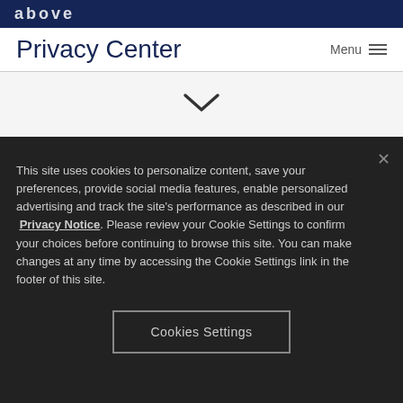above
Privacy Center
[Figure (other): Chevron/down arrow icon indicating scroll or expand]
This site uses cookies to personalize content, save your preferences, provide social media features, enable personalized advertising and track the site's performance as described in our Privacy Notice. Please review your Cookie Settings to confirm your choices before continuing to browse this site. You can make changes at any time by accessing the Cookie Settings link in the footer of this site.
Cookies Settings